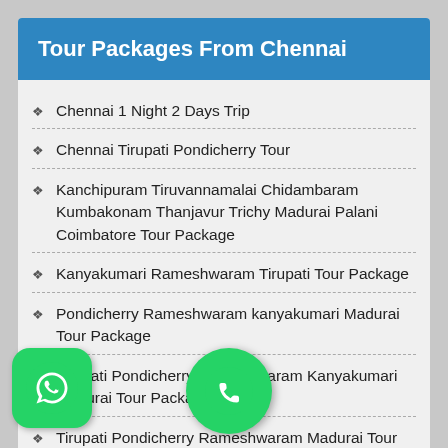Tour Packages From Chennai
Chennai 1 Night 2 Days Trip
Chennai Tirupati Pondicherry Tour
Kanchipuram Tiruvannamalai Chidambaram Kumbakonam Thanjavur Trichy Madurai Palani Coimbatore Tour Package
Kanyakumari Rameshwaram Tirupati Tour Package
Pondicherry Rameshwaram kanyakumari Madurai Tour Package
Tirupati Pondicherry Rameshwaram Kanyakumari Madurai Tour Package
Tirupati Pondicherry Rameshwaram Madurai Tour